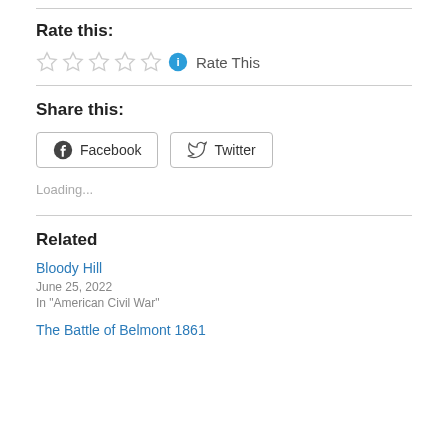Rate this:
[Figure (other): Five empty star rating icons followed by a blue info icon and 'Rate This' text]
Share this:
[Figure (other): Two share buttons: Facebook and Twitter with their respective icons]
Loading...
Related
Bloody Hill
June 25, 2022
In "American Civil War"
The Battle of Belmont 1861